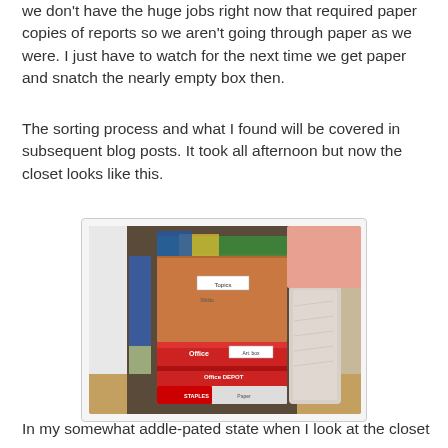we don't have the huge jobs right now that required paper copies of reports so we aren't going through paper as we were. I just have to watch for the next time we get paper and snatch the nearly empty box then.
The sorting process and what I found will be covered in subsequent blog posts. It took all afternoon but now the closet looks like this.
[Figure (photo): A closet interior showing stacked cardboard boxes: a plain brown box on top labeled 'Topics' and 'Shilito', with Office Depot paper boxes stacked below it, and a wrapped/bagged item to the right. Various items visible on shelves in background.]
In my somewhat addle-pated state when I look at the closet